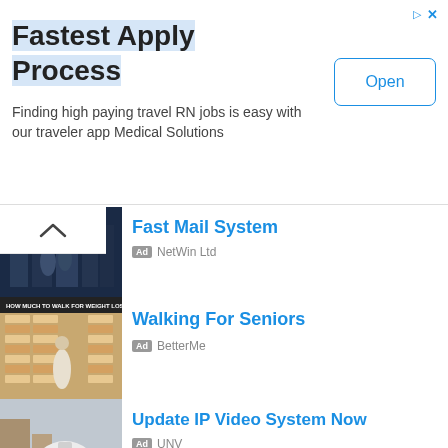[Figure (infographic): Top banner advertisement: Fastest Apply Process - Finding high paying travel RN jobs is easy with our traveler app Medical Solutions, with an Open button]
[Figure (infographic): Ad list item: Fast Mail System - NetWin Ltd - image of two people in a server room]
[Figure (infographic): Ad list item: Walking For Seniors - BetterMe - image showing walking for weight loss infographic]
[Figure (infographic): Ad list item: Update IP Video System Now - UNV - image of a PTZ security camera]
[Figure (infographic): Ad list item: Discover Biofuel Engines - image of industrial machinery]